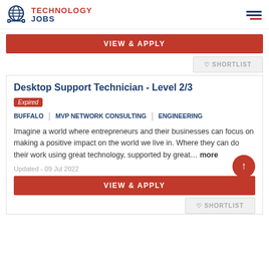Technology Jobs
VIEW & APPLY
♡ SHORTLIST
Desktop Support Technician - Level 2/3
Expired
BUFFALO | MVP NETWORK CONSULTING | ENGINEERING
Imagine a world where entrepreneurs and their businesses can focus on making a positive impact on the world we live in. Where they can do their work using great technology, supported by great... more
Updated - 09 Jul 2022
VIEW & APPLY
♡ SHORTLIST